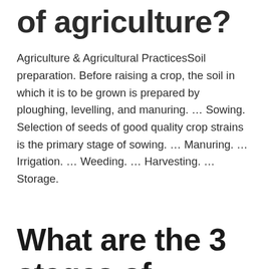of agriculture?
Agriculture & Agricultural PracticesSoil preparation. Before raising a crop, the soil in which it is to be grown is prepared by ploughing, levelling, and manuring. … Sowing. Selection of seeds of good quality crop strains is the primary stage of sowing. … Manuring. … Irrigation. … Weeding. … Harvesting. … Storage.
What are the 3 stages of agriculture?
Innovation in agriculture goes through three